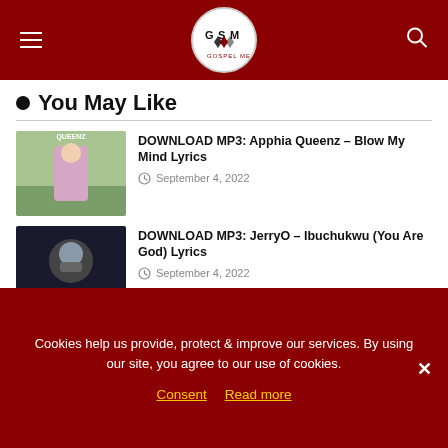GSM Gospel Media
You May Like
DOWNLOAD MP3: Apphia Queenz – Blow My Mind Lyrics
September 4, 2022
DOWNLOAD MP3: JerryO – Ibuchukwu (You Are God) Lyrics
September 4, 2022
Fola Amoo – Jehovah Shamama (Worship Medley) Mp3 Download
September 4, 2022
Cookies help us provide, protect & improve our services. By using our site, you agree to our use of cookies.
Consent   Read more